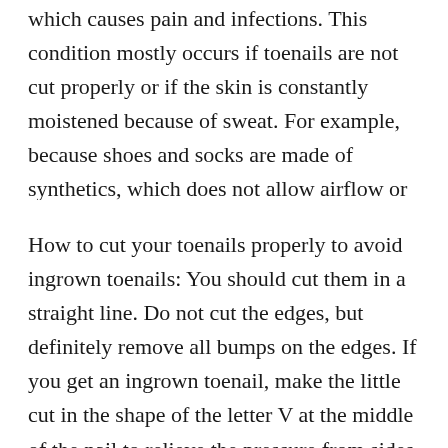which causes pain and infections. This condition mostly occurs if toenails are not cut properly or if the skin is constantly moistened because of sweat. For example, because shoes and socks are made of synthetics, which does not allow airflow or shoes are too small. Pay attention to cut your toenails properly.
How to cut your toenails properly to avoid ingrown toenails: You should cut them in a straight line. Do not cut the edges, but definitely remove all bumps on the edges. If you get an ingrown toenail, make the little cut in the shape of the letter V at the middle of the nail to relieve the pressure from sides. There are also remedies from the kitchen, which you can use for ingrown toenails. Soak your feet into a tub of warm